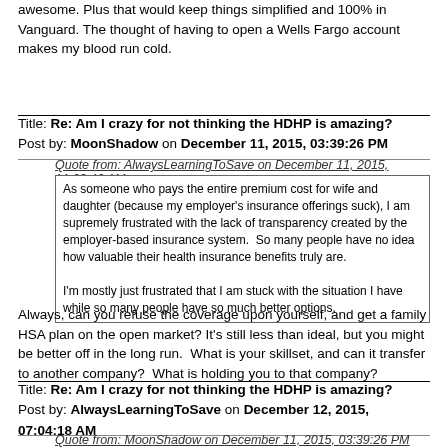awesome. Plus that would keep things simplified and 100% in Vanguard. The thought of having to open a Wells Fargo account makes my blood run cold.
Title: Re: Am I crazy for not thinking the HDHP is amazing?
Post by: MoonShadow on December 11, 2015, 03:39:26 PM
Quote from: AlwaysLearningToSave on December 11, 2015, 11:23:46 AM
As someone who pays the entire premium cost for wife and daughter (because my employer's insurance offerings suck), I am supremely frustrated with the lack of transparency created by the employer-based insurance system. So many people have no idea how valuable their health insurance benefits truly are.

I'm mostly just frustrated that I am stuck with the situation I have while so many people have so much better options.
Always, can you refuse the coverage upon yourself, and get a family HSA plan on the open market? It's still less than ideal, but you might be better off in the long run. What is your skillset, and can it transfer to another company? What is holding you to that company?
Title: Re: Am I crazy for not thinking the HDHP is amazing?
Post by: AlwaysLearningToSave on December 12, 2015, 07:04:18 AM
Quote from: MoonShadow on December 11, 2015, 03:39:26 PM
Quote from: AlwaysLearningToSave on December 11, 2015, 11:23:46 AM